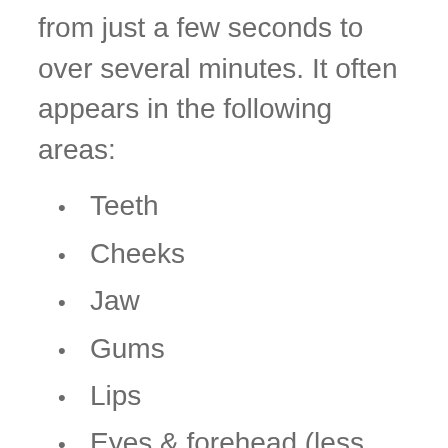from just a few seconds to over several minutes. It often appears in the following areas:
Teeth
Cheeks
Jaw
Gums
Lips
Eyes & forehead (less common)
Pain from Trigeminal Neuralgia doesn't always stay in the same place. It may affect only one area of the face at a time, or move around the face in